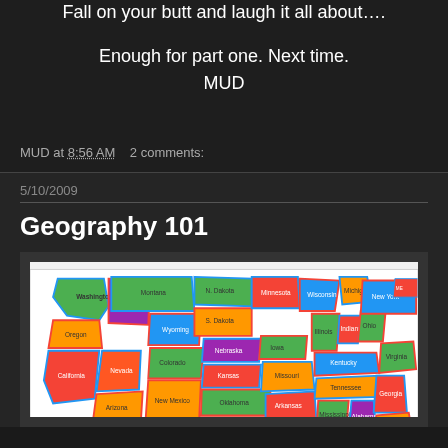Fall on your butt and laugh it all about….
Enough for part one. Next time.
MUD
MUD at 8:56 AM    2 comments:
5/10/2009
Geography 101
[Figure (map): Colorful map of the United States with states labeled and outlined in various colors including red, blue, green, and orange.]